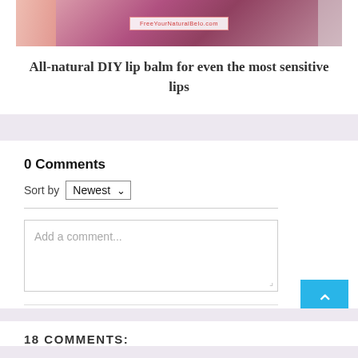[Figure (photo): Top portion of a blog post card showing a decorative image with pink/purple tones, featuring a round plate with lip balm items and a label box with website text]
All-natural DIY lip balm for even the most sensitive lips
0 Comments
Sort by Newest
Add a comment...
Facebook Comments Plugin
18 COMMENTS: